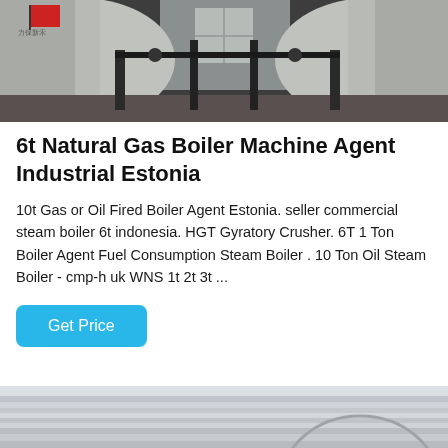[Figure (photo): Industrial boilers in a factory room — two large cylindrical tanks with pipes and equipment between them, photographed from inside the building]
6t Natural Gas Boiler Machine Agent Industrial Estonia
10t Gas or Oil Fired Boiler Agent Estonia. seller commercial steam boiler 6t indonesia. HGT Gyratory Crusher. 6T 1 Ton Boiler Agent Fuel Consumption Steam Boiler . 10 Ton Oil Steam Boiler - cmp-h uk WNS 1t 2t 3t ...
[Figure (photo): Close-up of white/grey industrial boiler surfaces partially visible at bottom of page]